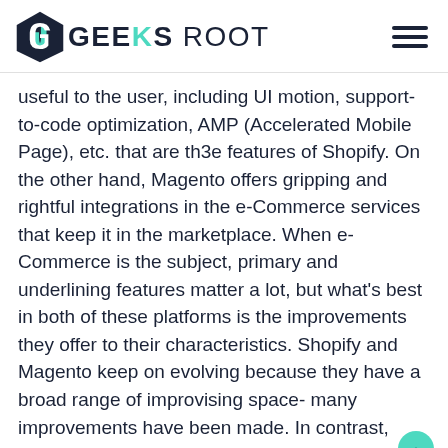GEEKS ROOT
useful to the user, including UI motion, support-to-code optimization, AMP (Accelerated Mobile Page), etc. that are th3e features of Shopify. On the other hand, Magento offers gripping and rightful integrations in the e-Commerce services that keep it in the marketplace. When e-Commerce is the subject, primary and underlining features matter a lot, but what's best in both of these platforms is the improvements they offer to their characteristics. Shopify and Magento keep on evolving because they have a broad range of improvising space- many improvements have been made. In contrast, many are on their way to integration and executions. So it will be easy for consumers to look at what you're looking for and find the right deal to move forward with your business with the above features.